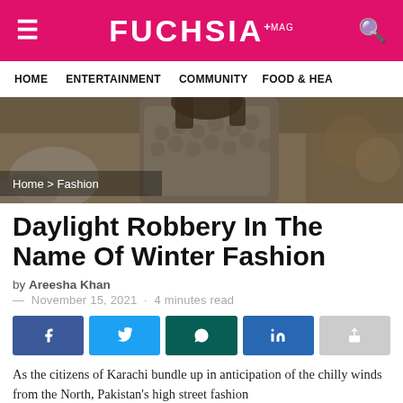FUCHSIA
HOME   ENTERTAINMENT   COMMUNITY   FOOD & HEA
[Figure (photo): Woman wearing a grey chunky knit sweater outdoors with rocks and foliage in the background. Breadcrumb overlay: Home > Fashion]
Daylight Robbery In The Name Of Winter Fashion
by Areesha Khan
— November 15, 2021 · 4 minutes read
[Figure (infographic): Social share buttons: Facebook, Twitter, WhatsApp, LinkedIn, Share]
As the citizens of Karachi bundle up in anticipation of the chilly winds from the North, Pakistan's high street fashion